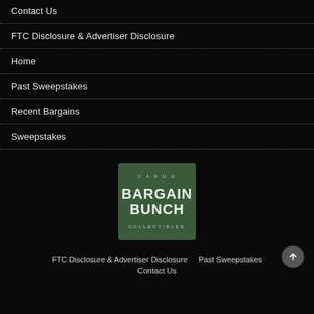Contact Us
FTC Disclosure & Advertiser Disclosure
Home
Past Sweepstakes
Recent Bargains
Sweepstakes
[Figure (logo): Bargain Bunch Collectibles logo — green square background with circular text 'CARDS COLLECTIBLES' and bold central text 'BARGAIN BUNCH']
FTC Disclosure & Advertiser Disclosure   Past Sweepstakes   Contact Us